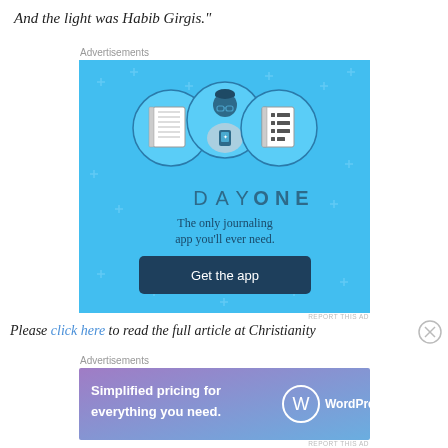And the light was Habib Girgis."
Advertisements
[Figure (illustration): Day One journaling app advertisement. Light blue background with decorative plus signs, three circular icons (notebook, person with phone, list), figure of person holding phone, text 'DAY ONE', 'The only journaling app you'll ever need.', dark blue 'Get the app' button.]
REPORT THIS AD
Please click here to read the full article at Christianity
Advertisements
[Figure (illustration): WordPress.com advertisement. Gradient purple-blue background with text 'Simplified pricing for everything you need.' and WordPress.com logo.]
REPORT THIS AD